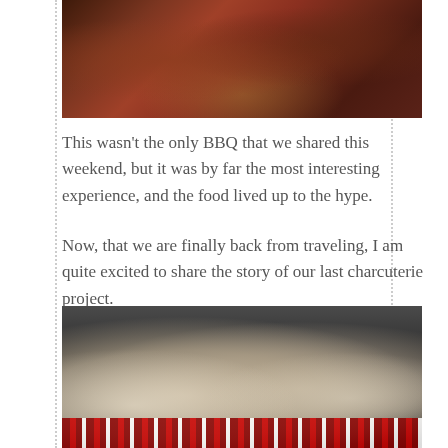[Figure (photo): Photo of BBQ food items on a tray with orange/red paper, dark background]
This wasn't the only BBQ that we shared this weekend, but it was by far the most interesting experience, and the food lived up to the hype.
Now, that we are finally back from traveling, I am quite excited to share the story of our last charcuterie project.
Duck Prosciutto
[Figure (photo): Photo of duck prosciutto wrapped in white cloth/cheesecloth on a dark background, with red and white striped material at the bottom]